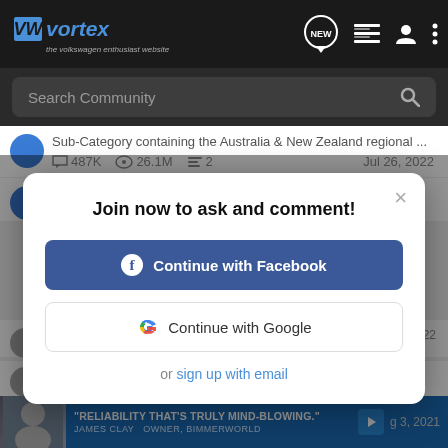VWvortex — the volkswagen enthusiast website
Search Community
Sub-Category containing the Australia & New Zealand regional ...
487K  26.1M  2   Jul 26, 2022
Join now to ask and comment!
Continue with Facebook
Continue with Google
or sign up with email
Sub-Category containing regional forums for Asia.
"RELIABILITY THAT'S TRULY MIND-BLOWING." JAMES CLAY OWNER, BIMMERWORLD
g 3, 2021